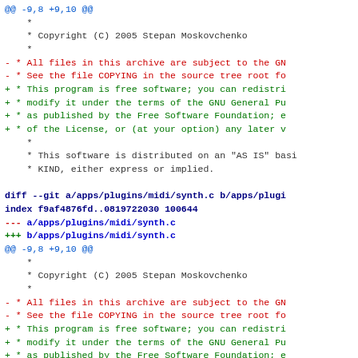diff hunk showing changes to copyright header in apps/plugins/midi/synth.c - two occurrences of the same diff hunk @@ -9,8 +9,10 @@
diff --git a/apps/plugins/midi/synth.c b/apps/plugins/midi/synth.c
index f9af4876fd..0819722030 100644
--- a/apps/plugins/midi/synth.c
+++ b/apps/plugins/midi/synth.c
@@ -9,8 +9,10 @@